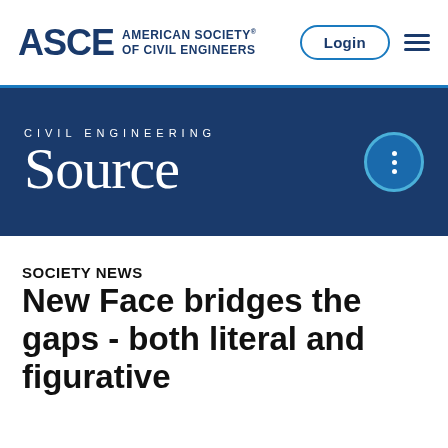[Figure (logo): ASCE American Society of Civil Engineers logo with Login button and hamburger menu]
[Figure (logo): Civil Engineering Source banner logo on dark blue background with three-dot menu circle]
SOCIETY NEWS
New Face bridges the gaps - both literal and figurative